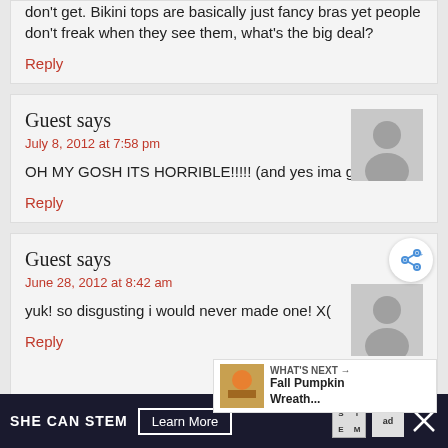don't get. Bikini tops are basically just fancy bras yet people don't freak when they see them, what's the big deal?
Reply
Guest says
July 8, 2012 at 7:58 pm
OH MY GOSH ITS HORRIBLE!!!!! (and yes ima girl)
Reply
Guest says
June 28, 2012 at 8:42 am
yuk! so disgusting i would never made one! X(
Reply
WHAT'S NEXT → Fall Pumpkin Wreath...
SHE CAN STEM   Learn More